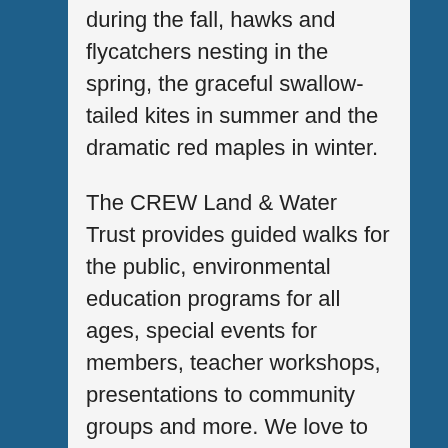during the fall, hawks and flycatchers nesting in the spring, the graceful swallow-tailed kites in summer and the dramatic red maples in winter.
The CREW Land & Water Trust provides guided walks for the public, environmental education programs for all ages, special events for members, teacher workshops, presentations to community groups and more. We love to share the CREW story and help others understand the importance of protecting places like the CREW